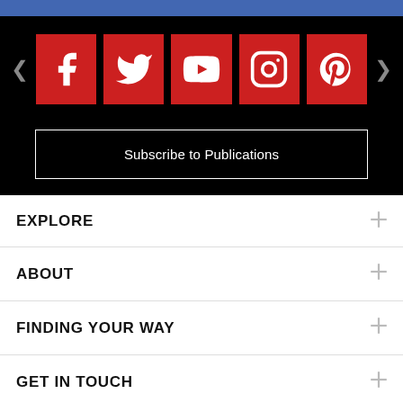[Figure (screenshot): Blue top bar representing a social media app header]
[Figure (infographic): Social media icon carousel on black background with Facebook, Twitter, YouTube, Instagram, Pinterest icons in red squares with left/right navigation arrows]
Subscribe to Publications
EXPLORE
ABOUT
FINDING YOUR WAY
GET IN TOUCH
MORE